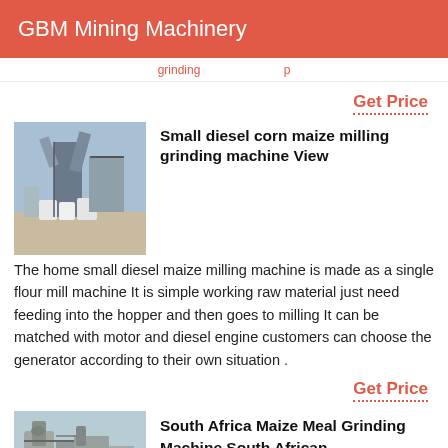GBM Mining Machinery
grinding ... p...
Get Price
[Figure (photo): Industrial milling machinery with large cylindrical structures and white containers on an outdoor site.]
Small diesel corn maize milling grinding machine View
The home small diesel maize milling machine is made as a single flour mill machine It is simple working raw material just need feeding into the hopper and then goes to milling It can be matched with motor and diesel engine customers can choose the generator according to their own situation .
Get Price
[Figure (photo): Industrial grinding machinery with pipes and structures at a South African facility.]
South Africa Maize Meal Grinding Machine South African